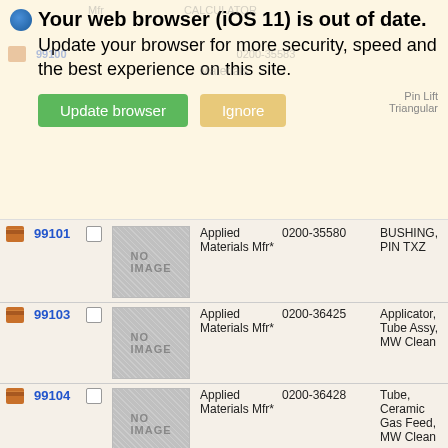[Figure (screenshot): Browser update notification banner: globe icon, bold title 'Your web browser (iOS 11) is out of date.', subtitle 'Update your browser for more security, speed and the best experience on this site.', green 'Update browser' button and tan 'Ignore' button.]
|  | # |  | Image | Manufacturer | Part Number | Description |
| --- | --- | --- | --- | --- | --- | --- |
|  | 99101 |  | NO IMAGE | Applied Materials Mfr* | 0200-35580 | BUSHING, PIN TXZ |
|  | 99103 |  | NO IMAGE | Applied Materials Mfr* | 0200-36425 | Applicator, Tube Assy, MW Clean |
|  | 99104 |  | NO IMAGE | Applied Materials Mfr* | 0200-36428 | Tube, Ceramic Gas Feed, MW Clean |
|  | 99108 |  | NO IMAGE | Applied Materials Mfr* | 0200-39287 | RF Isolator, MIC Clean 200MMST |
|  | 99110 |  | NO IMAGE | Applied Materials Mfr* | 0270-20268 | PCII BellJar Beadblast Fixture |
|  | 99019 |  | NO IMAGE | Applied | 1840059 | Chuck cover |